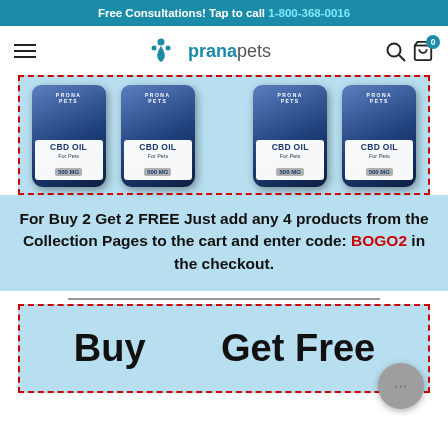Free Consultations! Tap to call 1-800-368-0016
[Figure (logo): Prana Pets logo with paw print icon]
[Figure (photo): Four Prana Pets CBD Oil 500mg bottles in a dashed red border box]
For Buy 2 Get 2 FREE Just add any 4 products from the Collection Pages to the cart and enter code: BOGO2 in the checkout.
[Figure (infographic): Buy / Get Free section with dashed red border, showing a chat bubble widget]